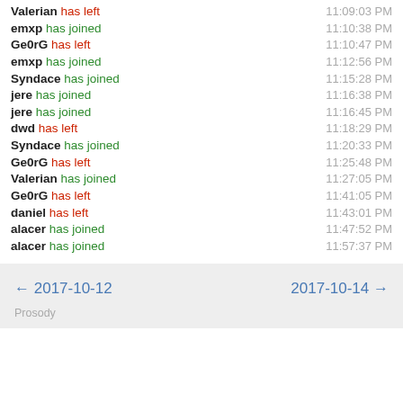Valerian has left 11:09:03 PM
emxp has joined 11:10:38 PM
Ge0rG has left 11:10:47 PM
emxp has joined 11:12:56 PM
Syndace has joined 11:15:28 PM
jere has joined 11:16:38 PM
jere has joined 11:16:45 PM
dwd has left 11:18:29 PM
Syndace has joined 11:20:33 PM
Ge0rG has left 11:25:48 PM
Valerian has joined 11:27:05 PM
Ge0rG has left 11:41:05 PM
daniel has left 11:43:01 PM
alacer has joined 11:47:52 PM
alacer has joined 11:57:37 PM
← 2017-10-12    2017-10-14 →
Prosody